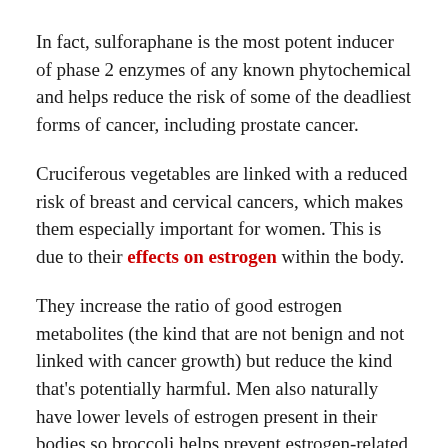In fact, sulforaphane is the most potent inducer of phase 2 enzymes of any known phytochemical and helps reduce the risk of some of the deadliest forms of cancer, including prostate cancer.
Cruciferous vegetables are linked with a reduced risk of breast and cervical cancers, which makes them especially important for women. This is due to their effects on estrogen within the body.
They increase the ratio of good estrogen metabolites (the kind that are not benign and not linked with cancer growth) but reduce the kind that's potentially harmful. Men also naturally have lower levels of estrogen present in their bodies so broccoli helps prevent estrogen-related cancer for men, too.